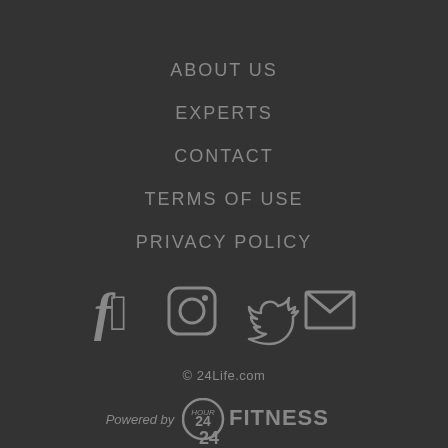ABOUT US
EXPERTS
CONTACT
TERMS OF USE
PRIVACY POLICY
[Figure (illustration): Social media icons: Facebook, Instagram, Twitter, Email]
© 24Life.com
[Figure (logo): Powered by 24 Hour Fitness logo]
[Figure (logo): 24 logo partial at bottom]